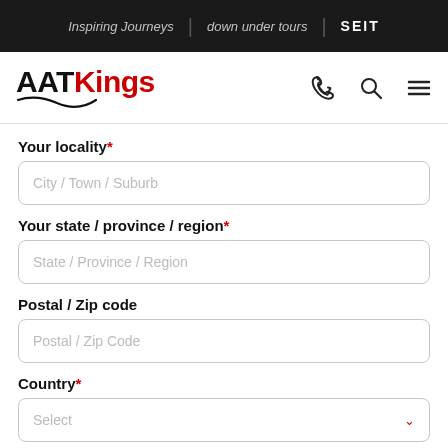Inspiring Journeys | down under tours | SEIT
[Figure (logo): AAT Kings logo with red 'Kings' text and smile swoosh, plus phone, search, and hamburger menu icons]
Your locality*
City / Town / Suburb
Your state / province / region*
State / Province / Region
Postal / Zip code
Postal / Zip Code
Country*
Select